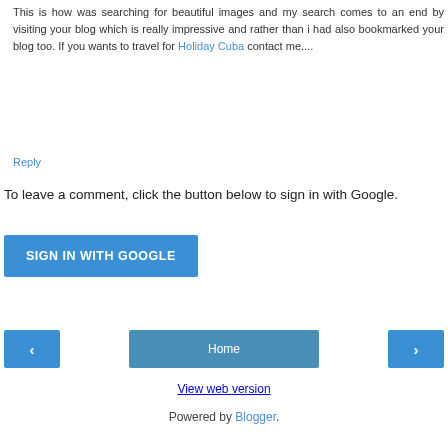This is how was searching for beautiful images and my search comes to an end by visiting your blog which is really impressive and rather than i had also bookmarked your blog too. If you wants to travel for Holiday Cuba contact me....
Reply
To leave a comment, click the button below to sign in with Google.
SIGN IN WITH GOOGLE
Home
View web version
Powered by Blogger.